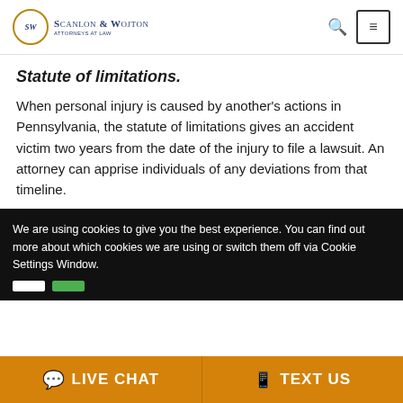Scanlon & Wojton Attorneys at Law
Statute of limitations.
When personal injury is caused by another's actions in Pennsylvania, the statute of limitations gives an accident victim two years from the date of the injury to file a lawsuit. An attorney can apprise individuals of any deviations from that timeline.
We are using cookies to give you the best experience. You can find out more about which cookies we are using or switch them off via Cookie Settings Window.
LIVE CHAT | TEXT US